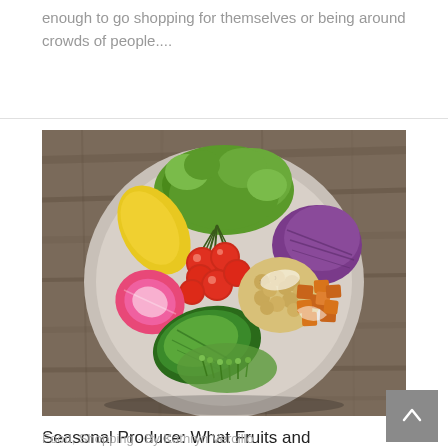enough to go shopping for themselves or being around crowds of people....
[Figure (photo): Overhead view of a colorful healthy food bowl on a wooden table, containing cherry tomatoes, avocado slices, chickpeas, sweet potato cubes, purple cabbage, green lettuce, yellow pepper, watermelon radish, and microgreens with dressing.]
Seasonal Produce: What Fruits and Vegetables to Buy in May
Food, Shopping · By Kathryn Vercillo